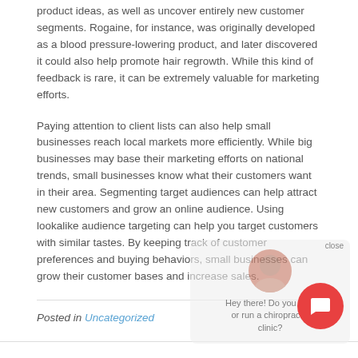product ideas, as well as uncover entirely new customer segments. Rogaine, for instance, was originally developed as a blood pressure-lowering product, and later discovered it could also help promote hair regrowth. While this kind of feedback is rare, it can be extremely valuable for marketing efforts.
Paying attention to client lists can also help small businesses reach local markets more efficiently. While big businesses may base their marketing efforts on national trends, small businesses know what their customers want in their area. Segmenting target audiences can help attract new customers and grow an online audience. Using lookalike audience targeting can help you target customers with similar tastes. By keeping track of customer preferences and buying behaviors, small businesses can grow their customer bases and increase sales.
Posted in Uncategorized
Contact Phone: 647-973-7550
Contact Email: greg@localonlineexpert.com